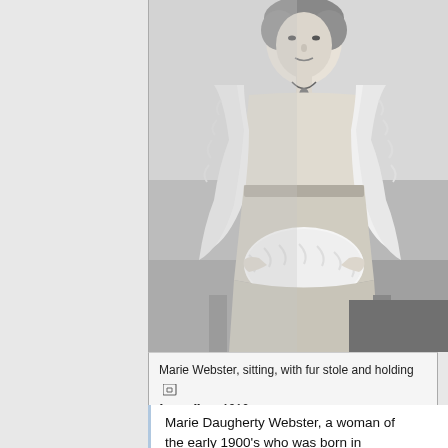[Figure (photo): Black and white photograph of Marie Webster, a woman sitting, wearing a fur stole and holding a fur muff, circa 1910.]
Marie Webster, sitting, with fur stole and holding fur muff ca. 1910.
Marie Daugherty Webster, a woman of the early 1900's who was born in